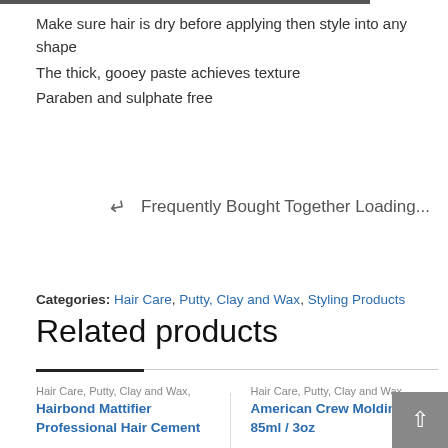Make sure hair is dry before applying then style into any shape
The thick, gooey paste achieves texture
Paraben and sulphate free
Frequently Bought Together Loading...
Categories: Hair Care, Putty, Clay and Wax, Styling Products
Related products
Hair Care, Putty, Clay and Wax,
Hairbond Mattifier Professional Hair Cement
Hair Care, Putty, Clay and Wax,
American Crew Molding Clay 85ml / 3oz